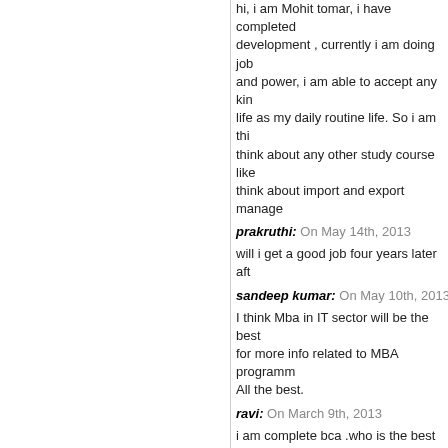hi, i am Mohit tomar, i have completed development , currently i am doing job and power, i am able to accept any kind life as my daily routine life. So i am thi think about any other study course like think about import and export manage
prakruthi: On May 14th, 2013
will i get a good job four years later aft
sandeep kumar: On May 10th, 2013
I think Mba in IT sector will be the best for more info related to MBA programm All the best.
ravi: On March 9th, 2013
i am complete bca .who is the best for
Suresh: On February 22nd, 2013
I 'm currently doing bca final year and i MCA is best for our career ?
Saket thakur: On February 11th, 2013
Sir/madam plz tell me that - have degr
Anusha: On July 10th, 2012
Hi Sir/Mam
I have completed BCA in2011 and i go associate. its fully bussiness field so c